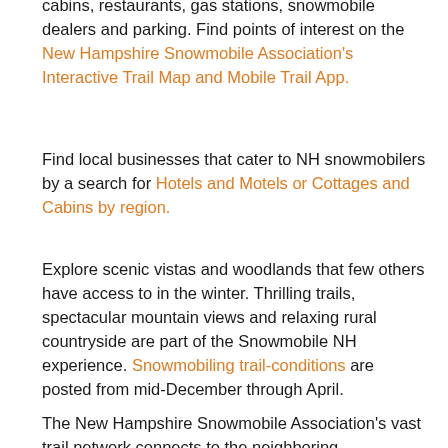cabins, restaurants, gas stations, snowmobile dealers and parking. Find points of interest on the New Hampshire Snowmobile Association's Interactive Trail Map and Mobile Trail App.
Find local businesses that cater to NH snowmobilers by a search for Hotels and Motels or Cottages and Cabins by region.
Explore scenic vistas and woodlands that few others have access to in the winter. Thrilling trails, spectacular mountain views and relaxing rural countryside are part of the Snowmobile NH experience. Snowmobiling trail-conditions are posted from mid-December through April.
The New Hampshire Snowmobile Association's vast trail network connects to the neighboring